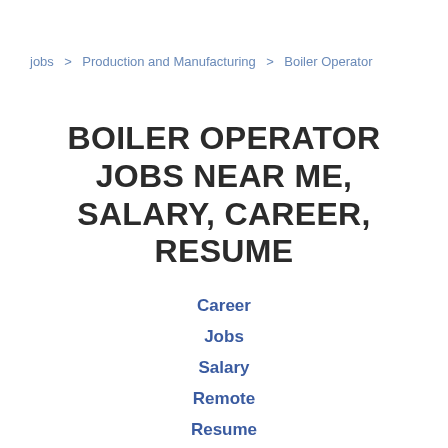jobs > Production and Manufacturing > Boiler Operator
BOILER OPERATOR JOBS NEAR ME, SALARY, CAREER, RESUME
Career
Jobs
Salary
Remote
Resume
Demographics